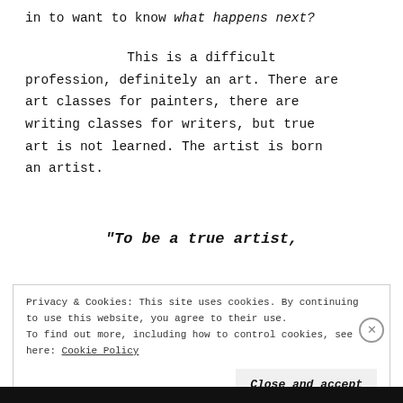in to want to know what happens next?
This is a difficult profession, definitely an art. There are art classes for painters, there are writing classes for writers, but true art is not learned. The artist is born an artist.
“To be a true artist,
Privacy & Cookies: This site uses cookies. By continuing to use this website, you agree to their use. To find out more, including how to control cookies, see here: Cookie Policy
Close and accept